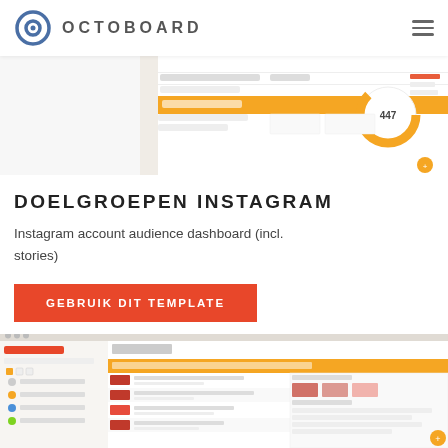OCTOBOARD
[Figure (screenshot): Octoboard dashboard screenshot showing analytics panels with orange donut chart showing 447, metric tables and orange header bar]
DOELGROEPEN INSTAGRAM
Instagram account audience dashboard (incl. stories)
GEBRUIK DIT TEMPLATE
[Figure (screenshot): Octoboard report configuration interface and Instagram dashboard preview showing social media posts, engagement data with orange accent colors]